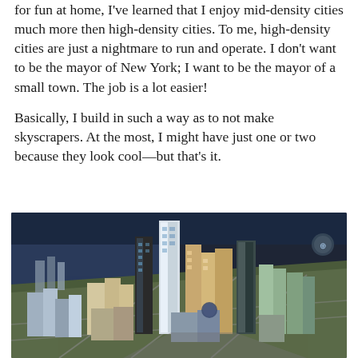for fun at home, I've learned that I enjoy mid-density cities much more then high-density cities. To me, high-density cities are just a nightmare to run and operate. I don't want to be the mayor of New York; I want to be the mayor of a small town. The job is a lot easier!
Basically, I build in such a way as to not make skyscrapers. At the most, I might have just one or two because they look cool—but that's it.
[Figure (photo): Aerial isometric view of a dense city skyline with tall skyscrapers, roads, and urban blocks, appearing to be from a city-building simulation game (SimCity-style). The scene shows many buildings of varying heights, including very tall glass towers, set against a dark background suggesting water or sky at the edges.]